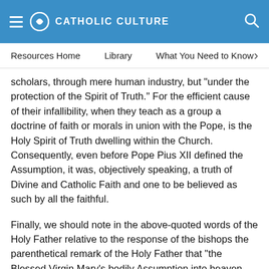CATHOLIC CULTURE
Resources Home   Library   What You Need to Know
scholars, through mere human industry, but "under the protection of the Spirit of Truth." For the efficient cause of their infallibility, when they teach as a group a doctrine of faith or morals in union with the Pope, is the Holy Spirit of Truth dwelling within the Church. Consequently, even before Pope Pius XII defined the Assumption, it was, objectively speaking, a truth of Divine and Catholic Faith and one to be believed as such by all the faithful.
Finally, we should note in the above-quoted words of the Holy Father relative to the response of the bishops the parenthetical remark of the Holy Father that "the Blessed Virgin Mary's bodily Assumption into heaven — which surely no faculty of the human mind could know by its own natural powers, as far as